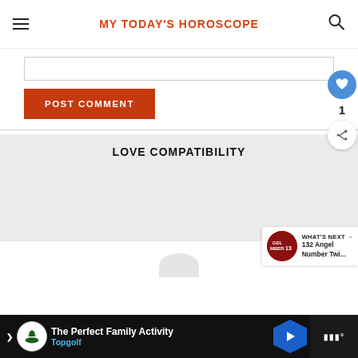MY TODAY'S HOROSCOPE
[Figure (screenshot): Comment input box (text area, empty)]
POST COMMENT
LOVE COMPATIBILITY
[Figure (infographic): Heart like button with count 1 and share button]
[Figure (infographic): What's Next panel: 132 Angel Number Twi...]
[Figure (infographic): Advertisement banner: The Perfect Family Activity - Topgolf]